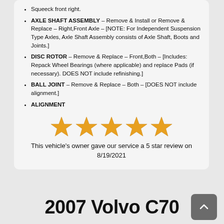Squeeck front right.
AXLE SHAFT ASSEMBLY – Remove & Install or Remove & Replace – Right,Front Axle – [NOTE: For Independent Suspension Type Axles, Axle Shaft Assembly consists of Axle Shaft, Boots and Joints.]
DISC ROTOR – Remove & Replace – Front,Both – [Includes: Repack Wheel Bearings (where applicable) and replace Pads (if necessary). DOES NOT include refinishing.]
BALL JOINT – Remove & Replace – Both – [DOES NOT include alignment.]
ALIGNMENT
[Figure (other): Five gold stars rating graphic]
This vehicle's owner gave our service a 5 star review on 8/19/2021
2007 Volvo C70